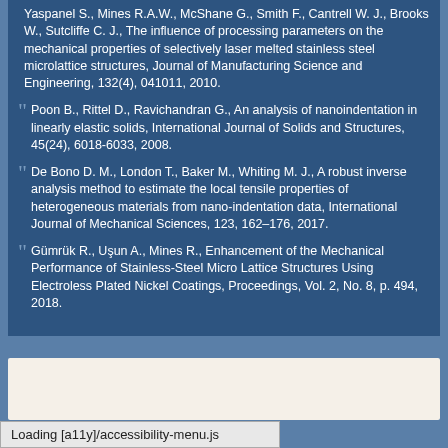Yaspanel S., Mines R.A.W., McShane G., Smith F., Cantrell W. J., Brooks W., Sutcliffe C. J., The influence of processing parameters on the mechanical properties of selectively laser melted stainless steel microlattice structures, Journal of Manufacturing Science and Engineering, 132(4), 041011, 2010.
Poon B., Rittel D., Ravichandran G., An analysis of nanoindentation in linearly elastic solids, International Journal of Solids and Structures, 45(24), 6018-6033, 2008.
De Bono D. M., London T., Baker M., Whiting M. J., A robust inverse analysis method to estimate the local tensile properties of heterogeneous materials from nano-indentation data, International Journal of Mechanical Sciences, 123, 162–176, 2017.
Gümrük R., Uşun A., Mines R., Enhancement of the Mechanical Performance of Stainless-Steel Micro Lattice Structures Using Electroless Plated Nickel Coatings, Proceedings, Vol. 2, No. 8, p. 494, 2018.
Loading [a11y]/accessibility-menu.js